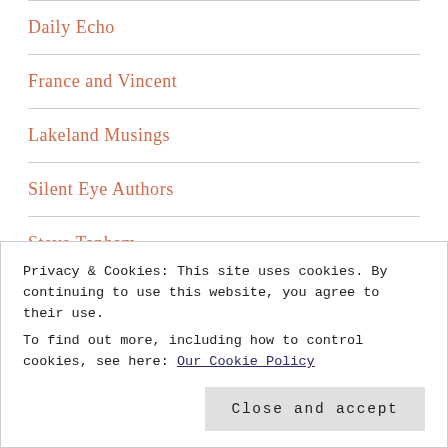Daily Echo
France and Vincent
Lakeland Musings
Silent Eye Authors
Steve Tanham
Steve Tanham Twitter
Stuart France
Privacy & Cookies: This site uses cookies. By continuing to use this website, you agree to their use. To find out more, including how to control cookies, see here: Our Cookie Policy
Close and accept